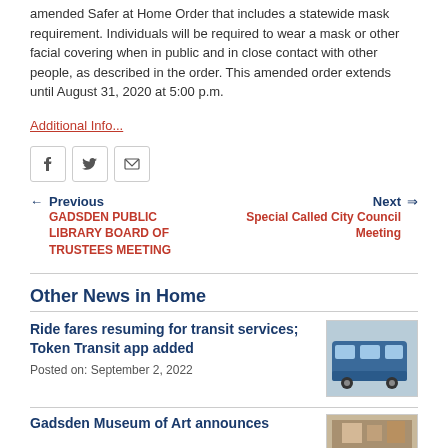amended Safer at Home Order that includes a statewide mask requirement. Individuals will be required to wear a mask or other facial covering when in public and in close contact with other people, as described in the order. This amended order extends until August 31, 2020 at 5:00 p.m.
Additional Info...
Previous | GADSDEN PUBLIC LIBRARY BOARD OF TRUSTEES MEETING | Next | Special Called City Council Meeting
Other News in Home
Ride fares resuming for transit services; Token Transit app added
Posted on: September 2, 2022
[Figure (photo): Photo of a transit bus]
Gadsden Museum of Art announces
[Figure (photo): Museum of Art image thumbnail]